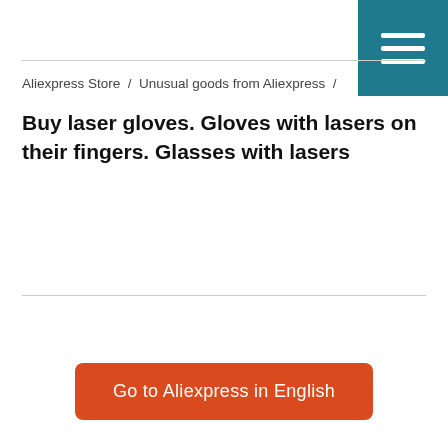≡ (menu icon)
Aliexpress Store / Unusual goods from Aliexpress /
Buy laser gloves. Gloves with lasers on their fingers. Glasses with lasers
Go to Aliexpress in English